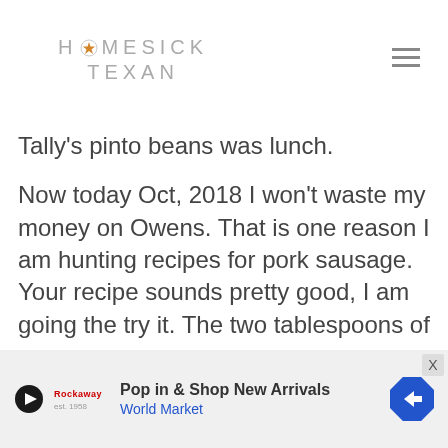Homesick Texan
Tally's pinto beans was lunch.
Now today Oct, 2018 I won't waste my money on Owens. That is one reason I am hunting recipes for pork sausage. Your recipe sounds pretty good, I am going the try it. The two tablespoons of sage kind of has my attention, I will have to ease into the sage part.
I have cooked some of your other recipes and they turned out well. One I like is your
[Figure (infographic): Advertisement banner for World Market: 'Pop in & Shop New Arrivals' with a World Market logo and a blue diamond arrow icon. Close button X in top right.]